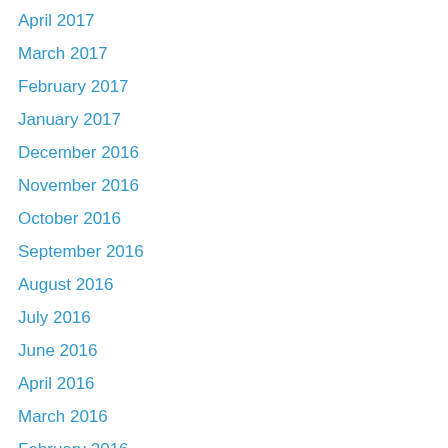April 2017
March 2017
February 2017
January 2017
December 2016
November 2016
October 2016
September 2016
August 2016
July 2016
June 2016
April 2016
March 2016
February 2016
January 2016
December 2015
October 2015
September 2015
August 2015
July 2015